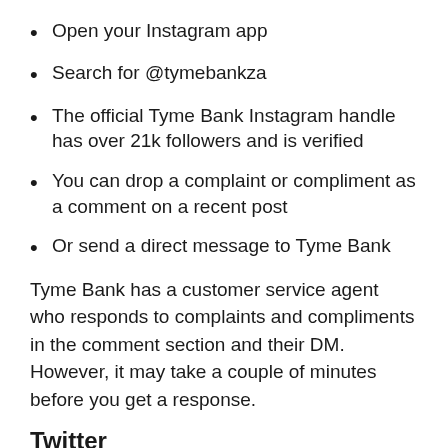Open your Instagram app
Search for @tymebankza
The official Tyme Bank Instagram handle has over 21k followers and is verified
You can drop a complaint or compliment as a comment on a recent post
Or send a direct message to Tyme Bank
Tyme Bank has a customer service agent who responds to complaints and compliments in the comment section and their DM. However, it may take a couple of minutes before you get a response.
Twitter